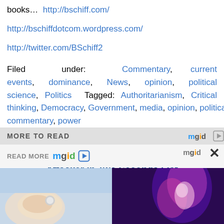books…  http://bschiff.com/
http://bschiffdotcom.wordpress.com/
http://twitter.com/BSchiff2
Filed under: Commentary, current events, dominance, News, opinion, political science, Politics  Tagged: Authoritarianism, Critical thinking, Democracy, Government, media, opinion, political commentary, power
Things Are Getting Crazy Out There. New Self Defense Tool Takes Out A 270 lb Attacker in Two Seconds Flat
[Figure (screenshot): mgid advertisement bar with READ MORE text and mgid logo with play button, close X button, and two thumbnail images below]
[Figure (photo): Left thumbnail showing a hand/ring image; right thumbnail showing a woman with purple lighting]